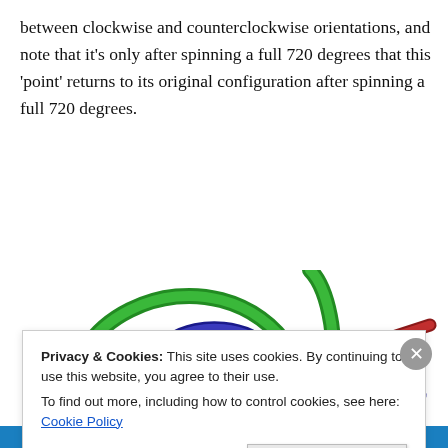between clockwise and counterclockwise orientations, and note that it's only after spinning a full 720 degrees that this 'point' returns to its original configuration after spinning a full 720 degrees.
[Figure (illustration): 3D rendering of interlinked colored tubes (green, blue, red) passing through a small red-and-dark cube shape, illustrating topological spin/orientation concepts.]
Privacy & Cookies: This site uses cookies. By continuing to use this website, you agree to their use. To find out more, including how to control cookies, see here: Cookie Policy